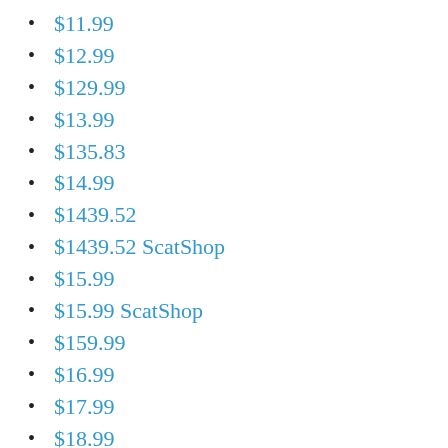$11.99
$12.99
$129.99
$13.99
$135.83
$14.99
$1439.52
$1439.52 ScatShop
$15.99
$15.99 ScatShop
$159.99
$16.99
$17.99
$18.99
$1870.56
$19.99